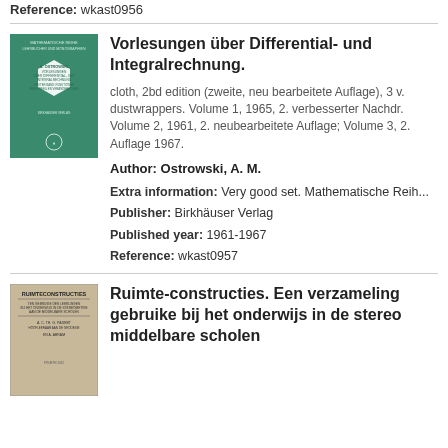Reference: wkast0956
[Figure (illustration): Green book cover of Vorlesungen über Differential- und Integralrechnung with hexagonal white label]
Vorlesungen über Differential- und Integralrechnung.
cloth, 2bd edition (zweite, neu bearbeitete Auflage), 3 v. dustwrappers. Volume 1, 1965, 2. verbesserter Nachdruck; Volume 2, 1961, 2. neubearbeitete Auflage; Volume 3, 2. Auflage 1967.
Author: Ostrowski, A. M.
Extra information: Very good set. Mathematische Reihe
Publisher: Birkhäuser Verlag
Published year: 1961-1967
Reference: wkast0957
[Figure (illustration): Tan/beige book cover of Ruimte-constructies]
Ruimte-constructies. Een verzameling gebruike bij het onderwijs in de stereo middelbare scholen